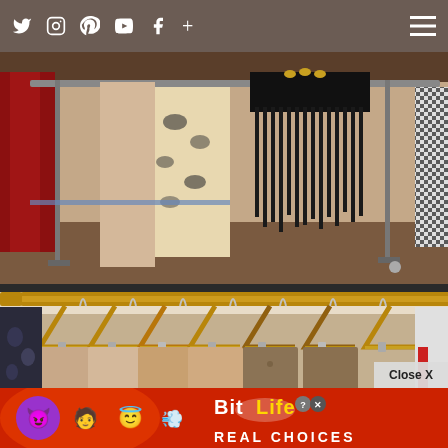[Figure (screenshot): Website navigation bar with social media icons (Twitter, Instagram, Pinterest, YouTube, Facebook, plus) on dark brownish-gray background with hamburger menu on right]
[Figure (photo): Clothing rack with fashion items including a black fringe garment, animal print dress, and other clothes hanging on display rails in a room]
[Figure (photo): Clothing rack with wooden hangers holding multiple garments including beige/nude colored blouses and brown/khaki shorts]
Close X
[Figure (screenshot): BitLife mobile game advertisement on red background with emoji characters (devil, person, angel) and sperm emoji, showing BitLife logo in yellow/white text and 'REAL CHOICES' subtitle]